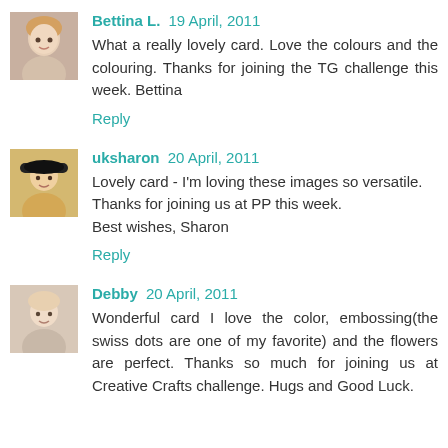[Figure (photo): Avatar photo of Bettina L., a woman with blonde hair]
Bettina L. 19 April, 2011
What a really lovely card. Love the colours and the colouring. Thanks for joining the TG challenge this week. Bettina
Reply
[Figure (photo): Avatar photo of uksharon, a woman wearing a hat]
uksharon 20 April, 2011
Lovely card - I'm loving these images so versatile.
Thanks for joining us at PP this week.
Best wishes, Sharon
Reply
[Figure (photo): Avatar photo of Debby, a woman with light hair]
Debby 20 April, 2011
Wonderful card I love the color, embossing(the swiss dots are one of my favorite) and the flowers are perfect. Thanks so much for joining us at Creative Crafts challenge. Hugs and Good Luck.